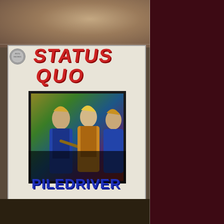[Figure (photo): Status Quo Piledriver LP vinyl album cover showing band members playing guitars with colorful rainbow background, large red STATUS QUO text and blue PILEDRIVER text]
[Figure (photo): Second view of Status Quo Piledriver album cover, back or variant view with rainbow colored blocks]
Artist: STATUS QUO
Title: Piledriver
Format: LP Vinyl
Label/Ref: